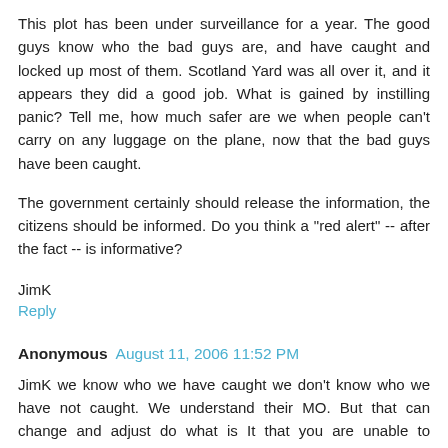This plot has been under surveillance for a year. The good guys know who the bad guys are, and have caught and locked up most of them. Scotland Yard was all over it, and it appears they did a good job. What is gained by instilling panic? Tell me, how much safer are we when people can't carry on any luggage on the plane, now that the bad guys have been caught.

The government certainly should release the information, the citizens should be informed. Do you think a "red alert" -- after the fact -- is informative?
JimK
Reply
Anonymous  August 11, 2006 11:52 PM
JimK we know who we have caught we don't know who we have not caught. We understand their MO. But that can change and adjust do what is It that you are unable to comprehend?